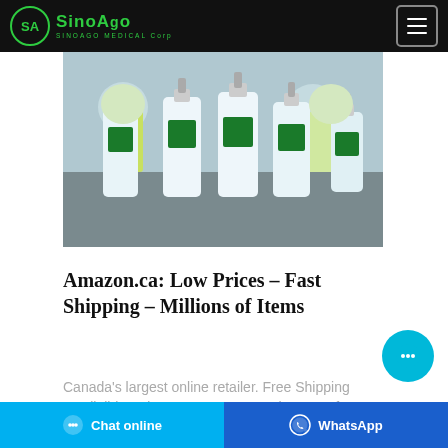SinoAgo Medical Corp
[Figure (photo): Workers in yellow protective clothing and hairnets at a manufacturing facility with multiple large pump bottles of hand sanitizer on a table.]
Amazon.ca: Low Prices – Fast Shipping – Millions of Items
Canada's largest online retailer. Free Shipping on eligible orders. Easy Returns. Shop now for Electronics.
Chat online | WhatsApp